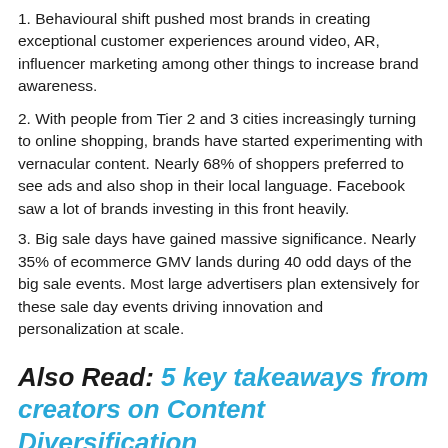1. Behavioural shift pushed most brands in creating exceptional customer experiences around video, AR, influencer marketing among other things to increase brand awareness.
2. With people from Tier 2 and 3 cities increasingly turning to online shopping, brands have started experimenting with vernacular content. Nearly 68% of shoppers preferred to see ads and also shop in their local language. Facebook saw a lot of brands investing in this front heavily.
3. Big sale days have gained massive significance. Nearly 35% of ecommerce GMV lands during 40 odd days of the big sale events. Most large advertisers plan extensively for these sale day events driving innovation and personalization at scale.
Also Read: 5 key takeaways from creators on Content Diversification
Dos & Don'ts for E...